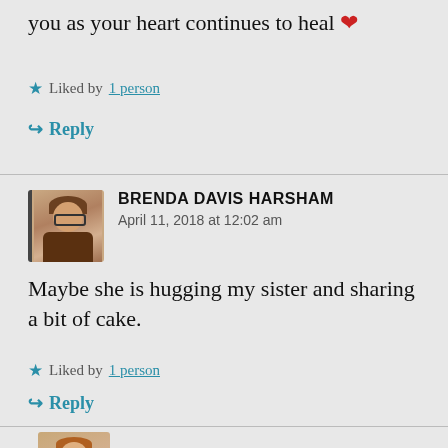you as your heart continues to heal ❤
★ Liked by 1 person
↪ Reply
BRENDA DAVIS HARSHAM
April 11, 2018 at 12:02 am
Maybe she is hugging my sister and sharing a bit of cake.
★ Liked by 1 person
↪ Reply
EWELINA SNYDER